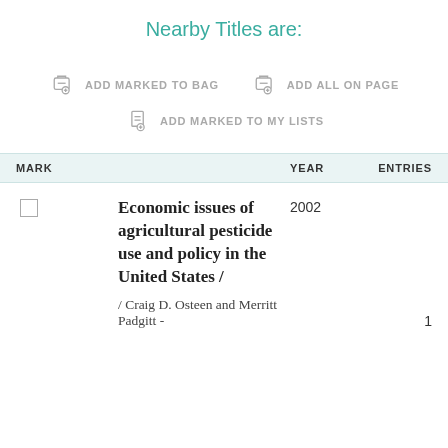Nearby Titles are:
ADD MARKED TO BAG
ADD ALL ON PAGE
ADD MARKED TO MY LISTS
| MARK |  | YEAR | ENTRIES |
| --- | --- | --- | --- |
| ☐ | Economic issues of agricultural pesticide use and policy in the United States / / Craig D. Osteen and Merritt Padgitt - | 2002 | 1 |